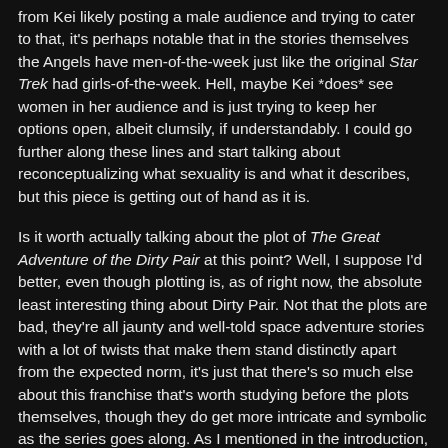from Kei likely posting a male audience and trying to cater to that, it's perhaps notable that in the stories themselves the Angels have men-of-the-week just like the original Star Trek had girls-of-the-week. Hell, maybe Kei *does* see women in her audience and is just trying to keep her options open, albeit clumsily, if understandably. I could go further along these lines and start talking about reconceptualizing what sexuality is and what it describes, but this piece is getting out of hand as it is.
Is it worth actually talking about the plot of The Great Adventure of the Dirty Pair at this point? Well, I suppose I'd better, even though plotting is, as of right now, the absolute least interesting thing about Dirty Pair. Not that the plots are bad, they're all jaunty and well-told space adventure stories with a lot of twists that make them stand distinctly apart from the expected norm, it's just that there's so much else about this franchise that's worth studying before the plots themselves, though they do get more intricate and symbolic as the series goes along. As I mentioned in the introduction, The Great Adventure of the Dirty Pair is actually a paperback collection of the first two Dirty Pair stories, the titular "The Great Adventure of the Dirty Pair" and Yuri helps...